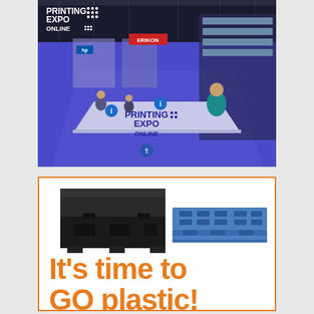[Figure (photo): Printing Expo Online virtual exhibition hall advertisement showing a virtual tradeshow floor with booths, people, and a reception desk with 'PRINTING EXPO ONLINE' branding on a blue and green diamond-shaped background]
[Figure (photo): Advertisement with orange border showing a black plastic bulk container/crate and a blue plastic pallet, with large orange bold text reading 'It's time to GO plastic!']